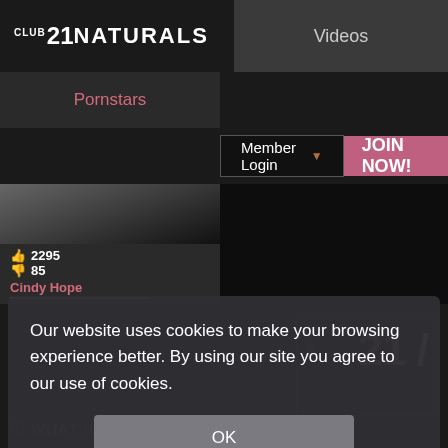CLUB 21NATURALS
Videos
Pornstars
Member Login
JOIN NOW!
2295
85
Cindy Hope
Our website uses cookies to make your browsing experience better. By using our site you agree to our use of cookies.
OK
WHAT IS CLUB.21NATURALS?